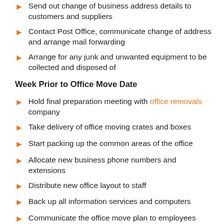Send out change of business address details to customers and suppliers
Contact Post Office, communicate change of address and arrange mail forwarding
Arrange for any junk and unwanted equipment to be collected and disposed of
Week Prior to Office Move Date
Hold final preparation meeting with office removals company
Take delivery of office moving crates and boxes
Start packing up the common areas of the office
Allocate new business phone numbers and extensions
Distribute new office layout to staff
Back up all information services and computers
Communicate the office move plan to employees
Ensure your website has your new address details
Check that the required parking and loading bays